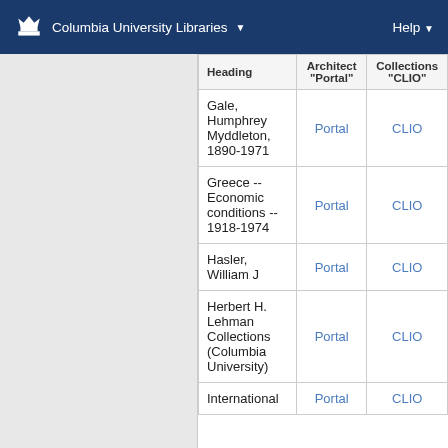Columbia University Libraries  Help
| Heading | Architect "Portal" | Collections "CLIO" |
| --- | --- | --- |
| Gale, Humphrey Myddleton, 1890-1971 | Portal | CLIO |
| Greece -- Economic conditions -- 1918-1974 | Portal | CLIO |
| Hasler, William J | Portal | CLIO |
| Herbert H. Lehman Collections (Columbia University) | Portal | CLIO |
| International | Portal | CLIO |